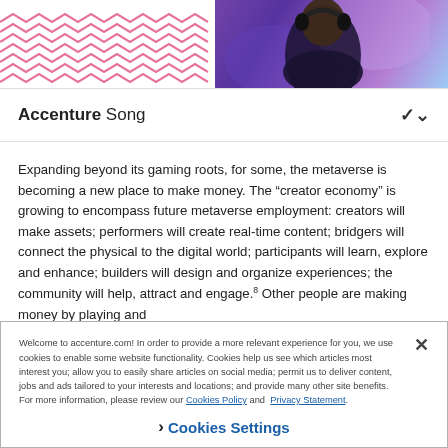[Figure (photo): Top section showing zigzag pink pattern on left and a person wearing headphones in a purple-lit gaming environment on the right.]
Accenture Song
Expanding beyond its gaming roots, for some, the metaverse is becoming a new place to make money. The “creator economy” is growing to encompass future metaverse employment: creators will make assets; performers will create real-time content; bridgers will connect the physical to the digital world; participants will learn, explore and enhance; builders will design and organize experiences; the community will help, attract and engage.8 Other people are making money by playing and
Welcome to accenture.com! In order to provide a more relevant experience for you, we use cookies to enable some website functionality. Cookies help us see which articles most interest you; allow you to easily share articles on social media; permit us to deliver content, jobs and ads tailored to your interests and locations; and provide many other site benefits. For more information, please review our Cookies Policy and Privacy Statement.
› Cookies Settings